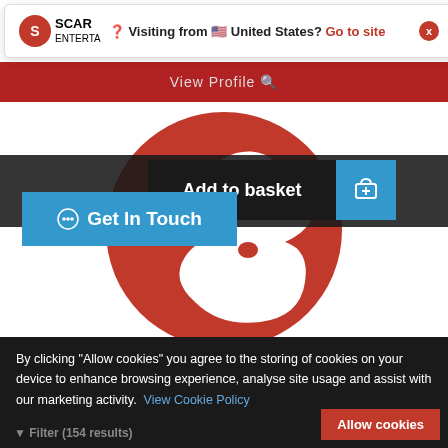[Figure (screenshot): Notification banner showing Scar Entertainment logo with text 'Visiting from United States? Go to site' and a close button]
[Figure (screenshot): Red banner strip with 'View Profile' text]
[Figure (logo): Scar Entertainment circular red logo with white stylized S figure on red background]
Add to basket
Get In Touch
By clicking "Allow cookies" you agree to the storing of cookies on your device to enhance browsing experience, analyse site usage and assist with our marketing activity. View Cookie Policy
Filter (154 results)
Allow cookies